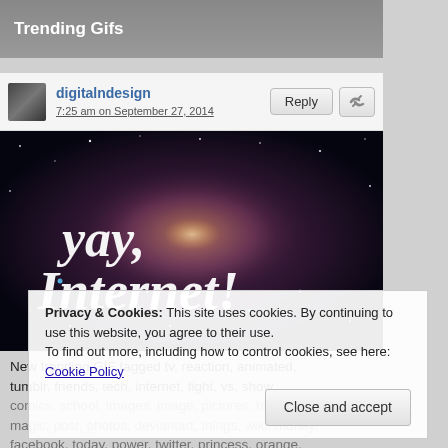Trending Gifs
digitalndesign
7:25 am on September 27, 2014
[Figure (illustration): A space nebula image with decorative script text reading 'yay, Internet!' in white calligraphy on a dark cosmic background with purple and orange nebula colors and blue stars.]
New trending GIF tagged tv, reaction, animated, tumblr, friends, tech, internet, fight, vs, show, comics, school, images, image, pictures, blog, magic, post, photos, deviantart, things, wiki, money, facebook, today, power, twitter, princess, orange, logo, nyc, friendship, pics, relationship, pinterest, encyclopedia, guide, wikipedia, machine, gets, days, geek, books, paris, die, lego, bell, speed, co, dumb, content, system, africa, products, doing,
Privacy & Cookies: This site uses cookies. By continuing to use this website, you agree to their use.
To find out more, including how to control cookies, see here: Cookie Policy
Close and accept